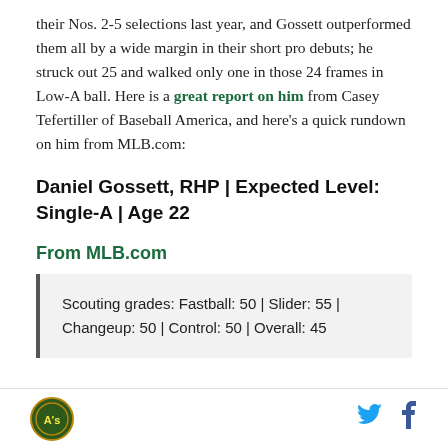their Nos. 2-5 selections last year, and Gossett outperformed them all by a wide margin in their short pro debuts; he struck out 25 and walked only one in those 24 frames in Low-A ball. Here is a great report on him from Casey Tefertiller of Baseball America, and here's a quick rundown on him from MLB.com:
Daniel Gossett, RHP | Expected Level: Single-A | Age 22
From MLB.com
Scouting grades: Fastball: 50 | Slider: 55 | Changeup: 50 | Control: 50 | Overall: 45